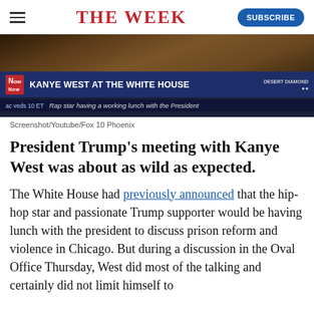THE WEEK
[Figure (screenshot): TV news screenshot showing 'KANYE WEST AT THE WHITE HOUSE' ticker headline on Fox 10 Phoenix, with 'Rap star having a working lunch with the President' subtext. Shows a news broadcast with blue lower-third graphics.]
Screenshot/Youtube/Fox 10 Phoenix
President Trump's meeting with Kanye West was about as wild as expected.
The White House had previously announced that the hip-hop star and passionate Trump supporter would be having lunch with the president to discuss prison reform and violence in Chicago. But during a discussion in the Oval Office Thursday, West did most of the talking and certainly did not limit himself to